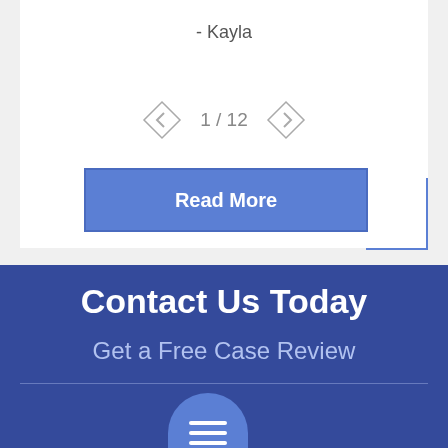- Kayla
1 / 12
Read More
Contact Us Today
Get a Free Case Review